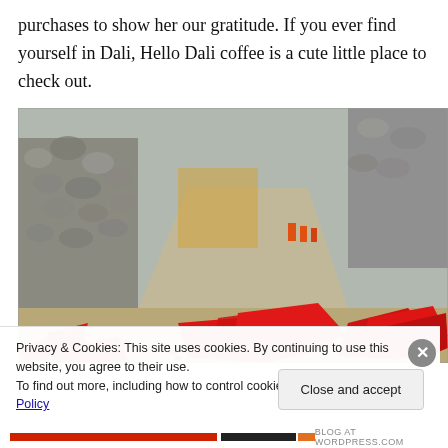purchases to show her our gratitude. If you ever find yourself in Dali, Hello Dali coffee is a cute little place to check out.
[Figure (photo): Street-level photo showing red firework paper debris scattered on a stone-paved alley, with a stone wall in the background and workers in orange vests visible in the distance.]
Privacy & Cookies: This site uses cookies. By continuing to use this website, you agree to their use.
To find out more, including how to control cookies, see here: Cookie Policy
Close and accept